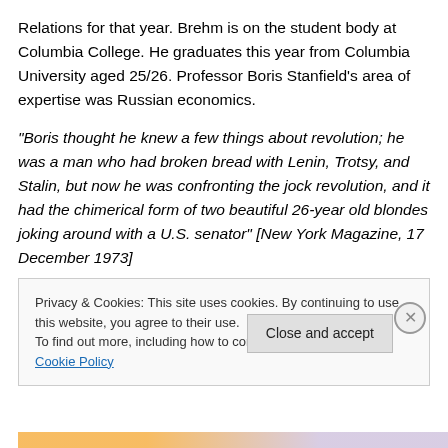Relations for that year. Brehm is on the student body at Columbia College. He graduates this year from Columbia University aged 25/26. Professor Boris Stanfield's area of expertise was Russian economics.
“Boris thought he knew a few things about revolution; he was a man who had broken bread with Lenin, Trotsy, and Stalin, but now he was confronting the jock revolution, and it had the chimerical form of two beautiful 26-year old blondes joking around with a U.S. senator” [New York Magazine, 17 December 1973]
Privacy & Cookies: This site uses cookies. By continuing to use this website, you agree to their use.
To find out more, including how to control cookies, see here: Cookie Policy